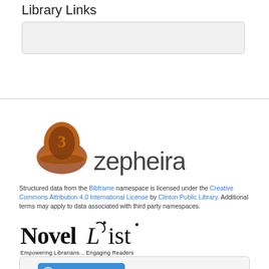Library Links
[Figure (other): Empty search input box with light gray background and rounded corners]
[Figure (logo): Zepheira logo — brown hat/scroll icon on left, 'zepheira' text in dark gray sans-serif on right]
Structured data from the Bibframe namespace is licensed under the Creative Commons Attribution 4.0 International License by Clinton Public Library. Additional terms may apply to data associated with third party namespaces.
[Figure (logo): NoveList logo — stylized 'NoveList' text with tagline 'Empowering Librarians... Engaging Readers']
[Figure (other): Light gray rounded box containing a blue 'Link Analysis' button with globe/network icon]